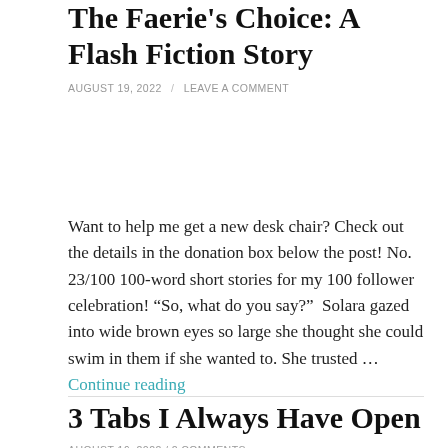The Faerie's Choice: A Flash Fiction Story
AUGUST 19, 2022 / LEAVE A COMMENT
Want to help me get a new desk chair? Check out the details in the donation box below the post! No. 23/100 100-word short stories for my 100 follower celebration! “So, what do you say?”  Solara gazed into wide brown eyes so large she thought she could swim in them if she wanted to. She trusted … Continue reading
3 Tabs I Always Have Open
AUGUST 16, 2022 / 2 COMMENTS